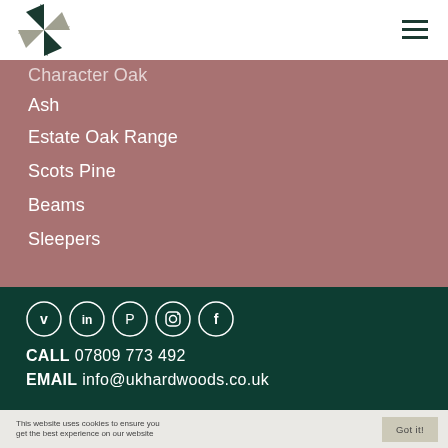[Figure (logo): UK Hardwoods star/pinwheel logo in dark green and grey]
Character Oak
Ash
Estate Oak Range
Scots Pine
Beams
Sleepers
[Figure (infographic): Social media icons row: Vimeo, LinkedIn, Pinterest, Instagram, Facebook — white circles on dark green background]
CALL 07809 773 492
EMAIL info@ukhardwoods.co.uk
This website uses cookies to ensure you get the best experience on our website  Got it!